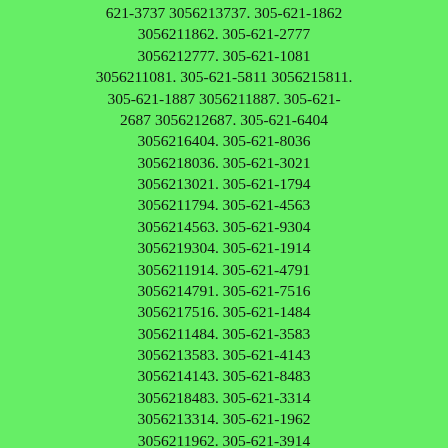621-3737 3056213737. 305-621-1862 3056211862. 305-621-2777 3056212777. 305-621-1081 3056211081. 305-621-5811 3056215811. 305-621-1887 3056211887. 305-621-2687 3056212687. 305-621-6404 3056216404. 305-621-8036 3056218036. 305-621-3021 3056213021. 305-621-1794 3056211794. 305-621-4563 3056214563. 305-621-9304 3056219304. 305-621-1914 3056211914. 305-621-4791 3056214791. 305-621-7516 3056217516. 305-621-1484 3056211484. 305-621-3583 3056213583. 305-621-4143 3056214143. 305-621-8483 3056218483. 305-621-3314 3056213314. 305-621-1962 3056211962. 305-621-3914 3056213914. 305-621-5706 3056215706. 305-621-3794 3056213794. 305-621-4538 3056214538. 305-621-9151